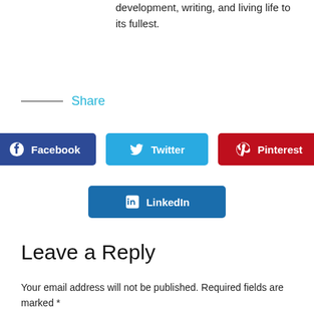development, writing, and living life to its fullest.
Share
[Figure (screenshot): Social share buttons: Facebook (dark blue), Twitter (light blue), Pinterest (dark red), LinkedIn (blue)]
Leave a Reply
Your email address will not be published. Required fields are marked *